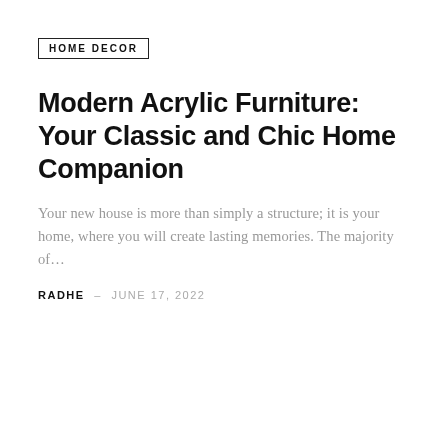HOME DECOR
Modern Acrylic Furniture: Your Classic and Chic Home Companion
Your new house is more than simply a structure; it is your home, where you will create lasting memories. The majority of…
RADHE – JUNE 17, 2022